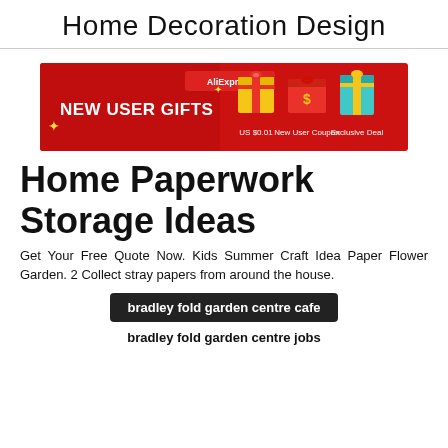Home Decoration Design
[Figure (illustration): AliExpress advertisement banner with red background showing NEW USER GIFTS with gift box icons, US $0.01, New User Coupon, and Exclusive Deal offers]
Home Paperwork Storage Ideas
Get Your Free Quote Now. Kids Summer Craft Idea Paper Flower Garden. 2 Collect stray papers from around the house.
bradley fold garden centre cafe
bradley fold garden centre jobs